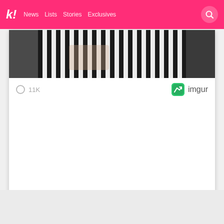k! News  Lists  Stories  Exclusives
[Figure (photo): Partial photo of a person wearing a black and white striped shirt, partially cropped, embedded in a content card]
○ 11K
[Figure (logo): Imgur logo with green app icon and 'imgur' text in dark gray]